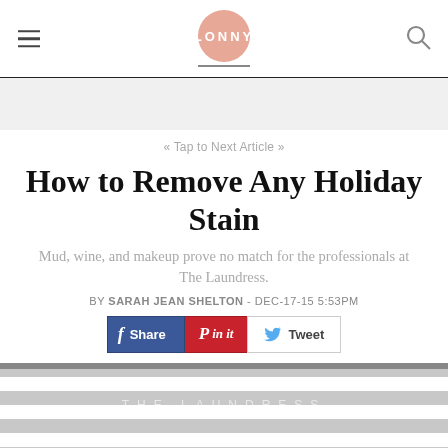LONNY
[Figure (other): Gray advertisement banner placeholder]
« Tap to Next Article »
How to Remove Any Holiday Stain
Mud, wine, and makeup prove no match for the professionals at The Laundress.
BY SARAH JEAN SHELTON - DEC-17-15 5:53PM
[Figure (other): Social share buttons: Facebook Share, Pinterest Pin it, Twitter Tweet]
[Figure (photo): Exterior storefront photo of The Laundress with gray and white striped awning]